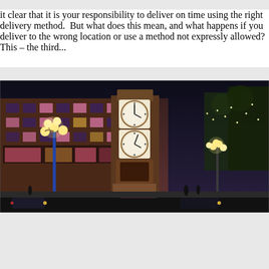it clear that it is your responsibility to deliver on time using the right delivery method.  But what does this mean, and what happens if you deliver to the wrong location or use a method not expressly allowed?  This – the third...
[Figure (photo): Night-time street scene of Gastown, Vancouver, featuring the historic steam clock in the center, illuminated brick buildings with pink and yellow lighting, ornate street lamps with globe lights, trees with string lights, and pedestrians and cars on the street.]